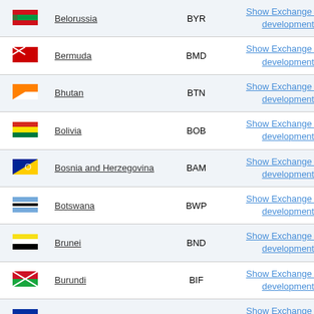| Flag | Country | Code | Link |
| --- | --- | --- | --- |
| [flag] | Belorussia | BYR | Show Exchange rate development |
| [flag] | Bermuda | BMD | Show Exchange rate development |
| [flag] | Bhutan | BTN | Show Exchange rate development |
| [flag] | Bolivia | BOB | Show Exchange rate development |
| [flag] | Bosnia and Herzegovina | BAM | Show Exchange rate development |
| [flag] | Botswana | BWP | Show Exchange rate development |
| [flag] | Brunei | BND | Show Exchange rate development |
| [flag] | Burundi | BIF | Show Exchange rate development |
| [flag] | Cambodia | KHR | Show Exchange rate development |